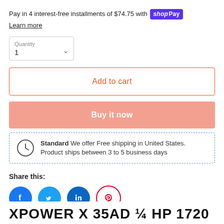Pay in 4 interest-free installments of $74.75 with shop Pay
Learn more
Quantity
1
Add to cart
Buy it now
Standard We offer Free shipping in United States. Product ships between 3 to 5 business days
Share this:
[Figure (other): Social media share icons: Facebook, Twitter, LinkedIn, Pinterest]
XPOWER X 35AD 1/4 HP 1720